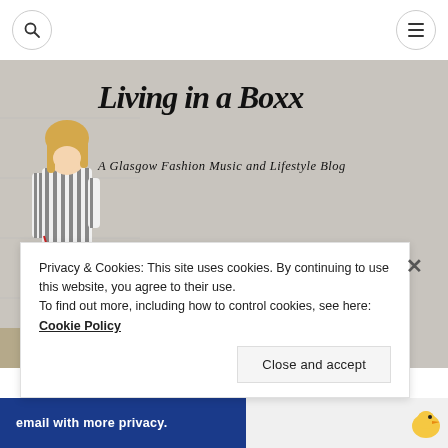[Figure (screenshot): Blog website header screenshot showing navigation icons (search and hamburger menu), hero image with woman walking a dog, blog title 'Living in a Boxx' in script font, subtitle 'A Glasgow Fashion Music and Lifestyle Blog', a cookie consent banner, and a bottom advertisement strip]
Privacy & Cookies: This site uses cookies. By continuing to use this website, you agree to their use.
To find out more, including how to control cookies, see here: Cookie Policy
Close and accept